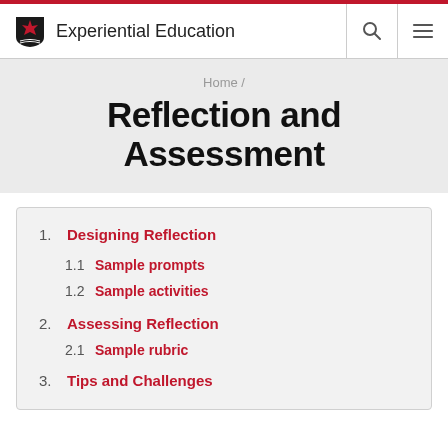Experiential Education
Home /
Reflection and Assessment
1. Designing Reflection
1.1 Sample prompts
1.2 Sample activities
2. Assessing Reflection
2.1 Sample rubric
3. Tips and Challenges